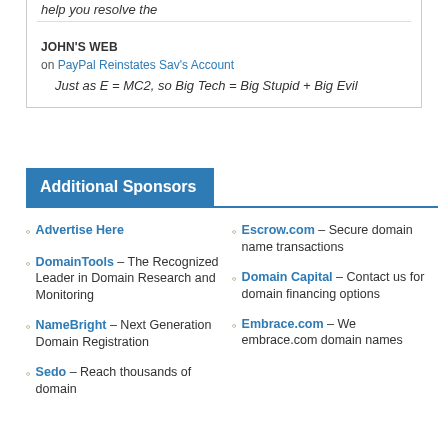help you resolve the
JOHN'S WEB
on PayPal Reinstates Sav's Account
Just as E = MC2, so Big Tech = Big Stupid + Big Evil
Additional Sponsors
Advertise Here
DomainTools – The Recognized Leader in Domain Research and Monitoring
NameBright – Next Generation Domain Registration
Sedo – Reach thousands of domain buyers
Escrow.com – Secure domain name transactions
Domain Capital – Contact us for domain financing options
Embrace.com – We embrace.com domain names